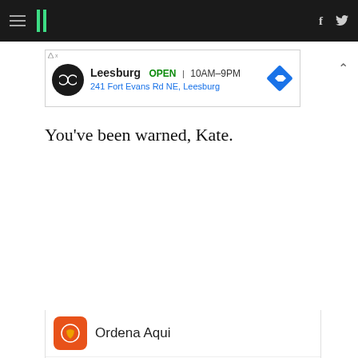HuffPost navigation bar with hamburger menu, logo, Facebook and Twitter icons
[Figure (screenshot): Advertisement banner: Leesburg OPEN 10AM–9PM | 241 Fort Evans Rd NE, Leesburg with infinity logo and diamond navigation icon]
You've been warned, Kate.
[Figure (photo): Advertisement image showing fried chicken pieces on a white octagonal plate with dipping sauce and bread rolls in background on a teal table]
Ordena Aqui
Pollo Campero  Herndon  10AM–10PM